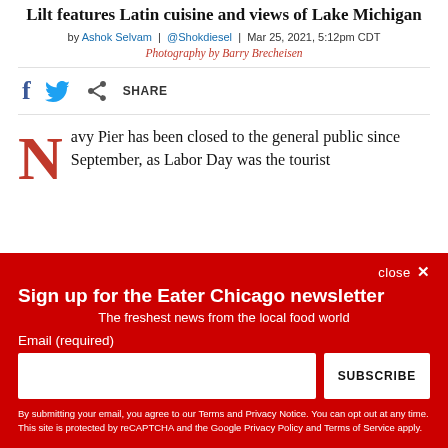Lilt features Latin cuisine and views of Lake Michigan
by Ashok Selvam | @Shokdiesel | Mar 25, 2021, 5:12pm CDT
Photography by Barry Brecheisen
[Figure (infographic): Social sharing icons: Facebook, Twitter, and a share button with SHARE label]
Navy Pier has been closed to the general public since September, as Labor Day was the tourist
Sign up for the Eater Chicago newsletter
The freshest news from the local food world
Email (required)
SUBSCRIBE
By submitting your email, you agree to our Terms and Privacy Notice. You can opt out at any time. This site is protected by reCAPTCHA and the Google Privacy Policy and Terms of Service apply.